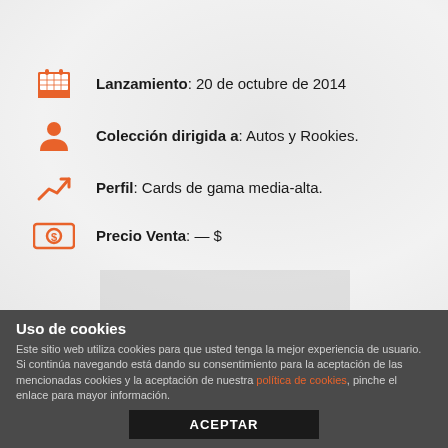Lanzamiento: 20 de octubre de 2014
Colección dirigida a: Autos y Rookies.
Perfil: Cards de gama media-alta.
Precio Venta: — $
Uso de cookies
Este sitio web utiliza cookies para que usted tenga la mejor experiencia de usuario. Si continúa navegando está dando su consentimiento para la aceptación de las mencionadas cookies y la aceptación de nuestra política de cookies, pinche el enlace para mayor información.
ACEPTAR